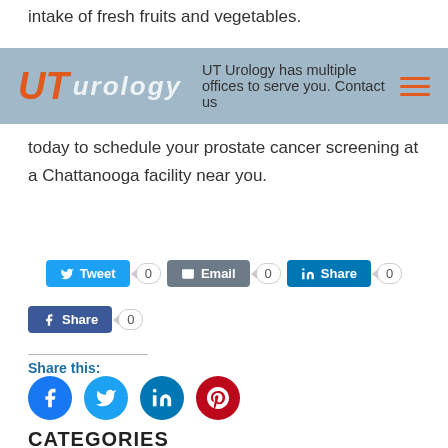intake of fresh fruits and vegetables.
[Figure (logo): UT Urology logo with text: UT Urology has multiple offices to serve you. Contact us]
today to schedule your prostate cancer screening at a Chattanooga facility near you.
[Figure (infographic): Social share buttons: Tweet 0, Email 0, Share (LinkedIn) 0, Share (Facebook) 0]
Share this:
[Figure (infographic): Social media circle icons: Facebook, Twitter, LinkedIn, Pinterest]
CATEGORIES
Enlarged Prostate (4)